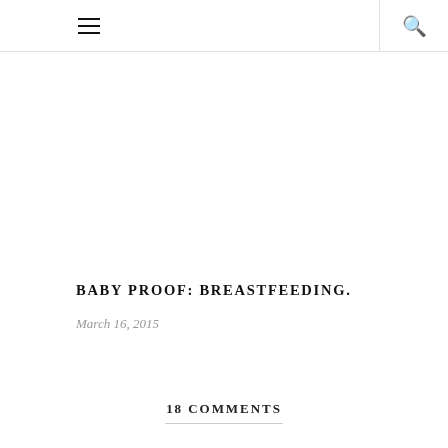☰  🔍
BABY PROOF: BREASTFEEDING.
March 16, 2015
18 COMMENTS